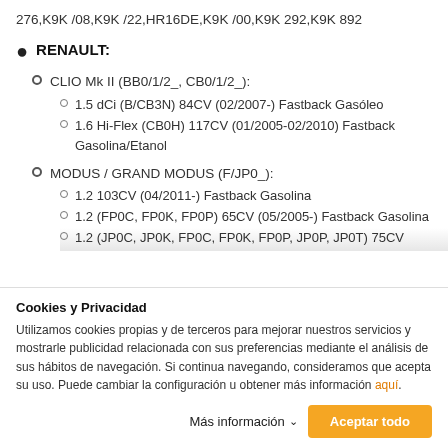276,K9K /08,K9K /22,HR16DE,K9K /00,K9K 292,K9K 892
RENAULT:
CLIO Mk II (BB0/1/2_, CB0/1/2_):
1.5 dCi (B/CB3N) 84CV (02/2007-) Fastback Gasóleo
1.6 Hi-Flex (CB0H) 117CV (01/2005-02/2010) Fastback Gasolina/Etanol
MODUS / GRAND MODUS (F/JP0_):
1.2 103CV (04/2011-) Fastback Gasolina
1.2 (FP0C, FP0K, FP0P) 65CV (05/2005-) Fastback Gasolina
1.2 (JP0C, JP0K, FP0C, FP0K, FP0P, JP0P, JP0T) 75CV
Cookies y Privacidad
Utilizamos cookies propias y de terceros para mejorar nuestros servicios y mostrarle publicidad relacionada con sus preferencias mediante el análisis de sus hábitos de navegación. Si continua navegando, consideramos que acepta su uso. Puede cambiar la configuración u obtener más información aquí.